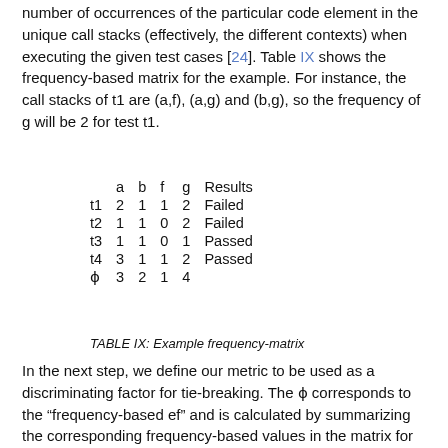number of occurrences of the particular code element in the unique call stacks (effectively, the different contexts) when executing the given test cases [24]. Table IX shows the frequency-based matrix for the example. For instance, the call stacks of t1 are (a,f), (a,g) and (b,g), so the frequency of g will be 2 for test t1.
|  | a | b | f | g | Results |
| --- | --- | --- | --- | --- | --- |
| t1 | 2 | 1 | 1 | 2 | Failed |
| t2 | 1 | 1 | 0 | 2 | Failed |
| t3 | 1 | 1 | 0 | 1 | Passed |
| t4 | 3 | 1 | 1 | 2 | Passed |
| ϕ | 3 | 2 | 1 | 4 |  |
TABLE IX: Example frequency-matrix
In the next step, we define our metric to be used as a discriminating factor for tie-breaking. The ϕ corresponds to the “frequency-based ef” and is calculated by summarizing the corresponding frequency-based values in the matrix for the failing test cases (see Equation 2). The values for our example are shown in the last row of Table IX.